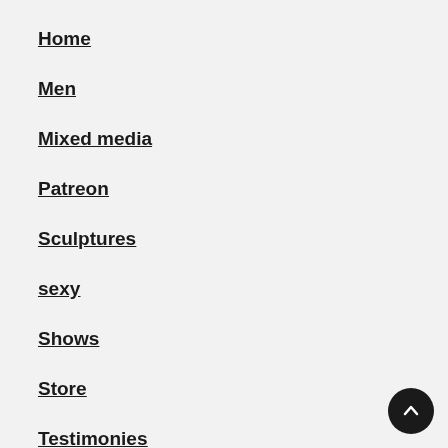Home
Men
Mixed media
Patreon
Sculptures
sexy
Shows
Store
Testimonies